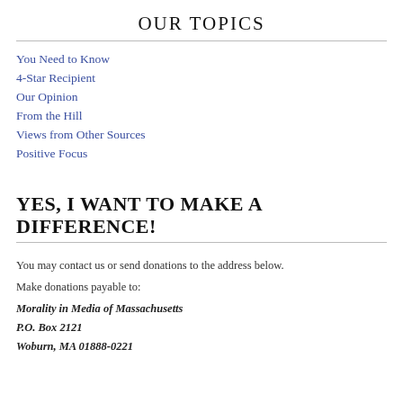OUR TOPICS
You Need to Know
4-Star Recipient
Our Opinion
From the Hill
Views from Other Sources
Positive Focus
YES, I WANT TO MAKE A DIFFERENCE!
You may contact us or send donations to the address below.
Make donations payable to:
Morality in Media of Massachusetts
P.O. Box 2121
Woburn, MA 01888-0221